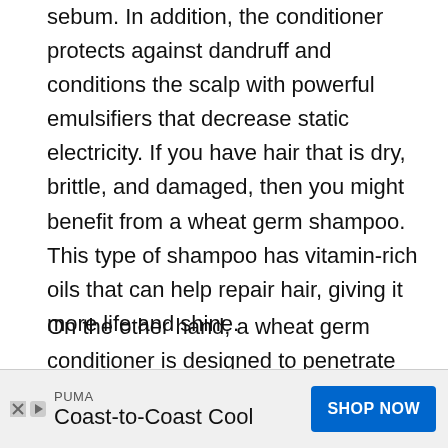sebum. In addition, the conditioner protects against dandruff and conditions the scalp with powerful emulsifiers that decrease static electricity. If you have hair that is dry, brittle, and damaged, then you might benefit from a wheat germ shampoo. This type of shampoo has vitamin-rich oils that can help repair hair, giving it more life and shine.
On the other hand, a wheat germ conditioner is designed to penetrate the cuticle layer of your hair shaft and restore health. Like many types of conditioners available on the market today, this one will leave your locks feeling soft and moisturized without feeling heavy or greasy. Although this type of shampoo and conditioner is
[Figure (other): Advertisement banner: PUMA Coast-to-Coast Cool with a SHOP NOW button in blue]